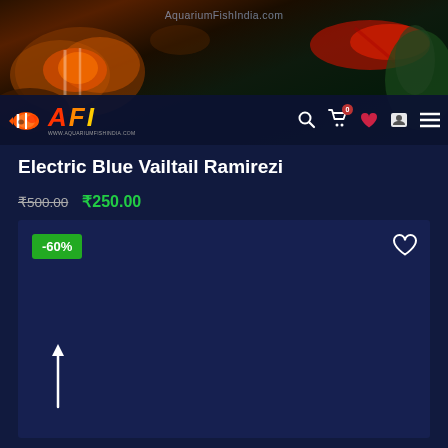[Figure (screenshot): Website header with fish/aquarium background image showing clownfish and red decorative fish. AFI logo with clownfish icon visible. Watermark text AquariumFishIndia.com overlaid.]
AquariumFishIndia.com
Electric Blue Vailtail Ramirezi
₹500.00  ₹250.00
[Figure (other): Dark navy blue product image area with -60% discount badge (green) in top left and heart/wishlist icon (white outline) in top right. White upward arrow on left side near bottom.]